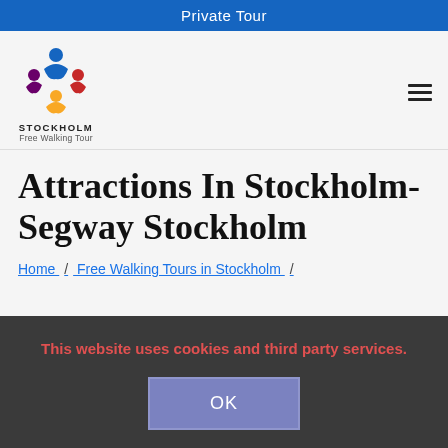Private Tour
[Figure (logo): Stockholm Free Walking Tour logo with colorful figure icons in blue, red, yellow, purple]
Attractions In Stockholm-Segway Stockholm
Home / Free Walking Tours in Stockholm /
This website uses cookies and third party services.
OK